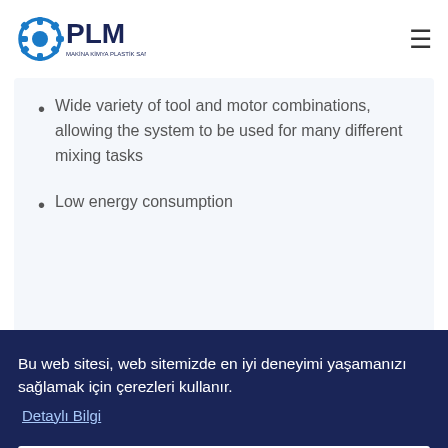PLM Makina Kimya Plastik San. ve Tic. A.Ş.
Wide variety of tool and motor combinations, allowing the system to be used for many different mixing tasks
Low energy consumption
Markanın Diğer Ürünleri
Bu web sitesi, web sitemizde en iyi deneyimi yaşamanızı sağlamak için çerezleri kullanır.
Detaylı Bilgi
Tamam